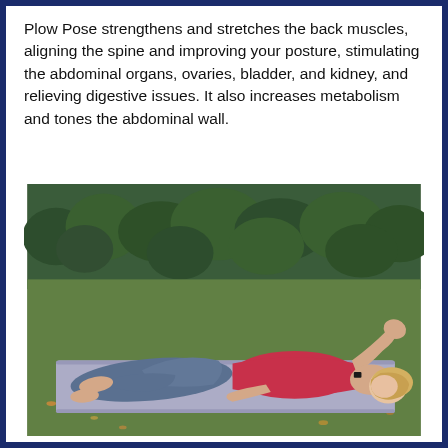Plow Pose strengthens and stretches the back muscles, aligning the spine and improving your posture, stimulating the abdominal organs, ovaries, bladder, and kidney, and relieving digestive issues. It also increases metabolism and tones the abdominal wall.
[Figure (photo): A woman with blonde hair wearing a red top and gray leggings lying on her back on a gray yoga mat on grass outdoors, with green bushes in the background. She appears to be in a yoga pose with her knees bent and arms extended.]